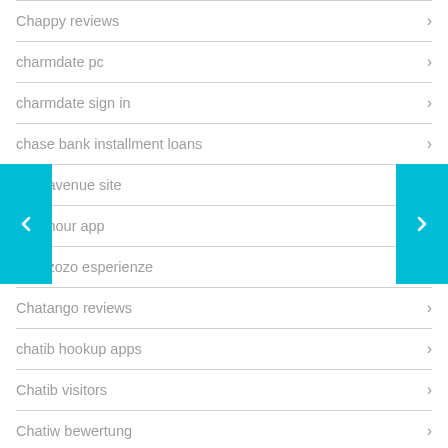Chappy reviews
charmdate pc
charmdate sign in
chase bank installment loans
chat avenue site
chat hour app
chat zozo esperienze
Chatango reviews
chatib hookup apps
Chatib visitors
Chatiw bewertung